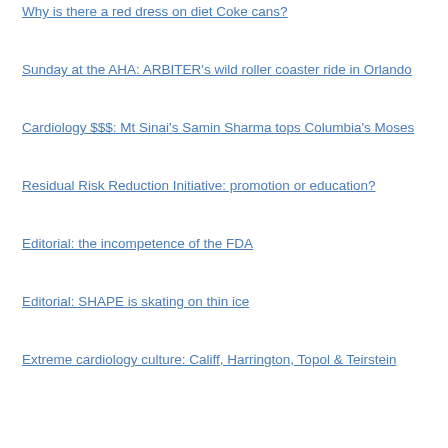Why is there a red dress on diet Coke cans?
Sunday at the AHA: ARBITER's wild roller coaster ride in Orlando
Cardiology $$$: Mt Sinai's Samin Sharma tops Columbia's Moses
Residual Risk Reduction Initiative: promotion or education?
Editorial: the incompetence of the FDA
Editorial: SHAPE is skating on thin ice
Extreme cardiology culture: Califf, Harrington, Topol & Teirstein